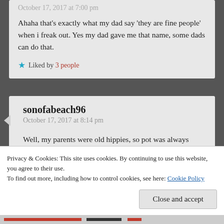October 17, 2017 at 7:00 pm
Ahaha that's exactly what my dad say 'they are fine people' when i freak out. Yes my dad gave me that name, some dads can do that.
Liked by 3 people
sonofabeach96
October 17, 2017 at 8:14 pm
Well, my parents were old hippies, so pot was always around when I was growing up. I don't have any issue with it at all. I rather somebody
Privacy & Cookies: This site uses cookies. By continuing to use this website, you agree to their use.
To find out more, including how to control cookies, see here: Cookie Policy